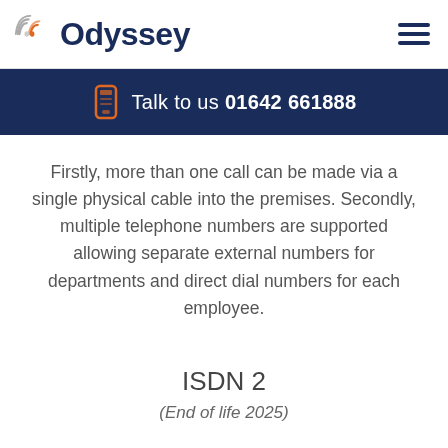Odyssey | Talk to us 01642 661888
Firstly, more than one call can be made via a single physical cable into the premises. Secondly, multiple telephone numbers are supported allowing separate external numbers for departments and direct dial numbers for each employee.
ISDN 2
(End of life 2025)